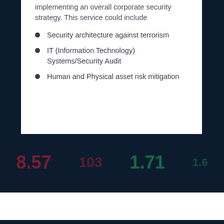implementing an overall corporate security strategy. This service could include
Security architecture against terrorism
IT (Information Technology) Systems/Security Audit
Human and Physical asset risk mitigation